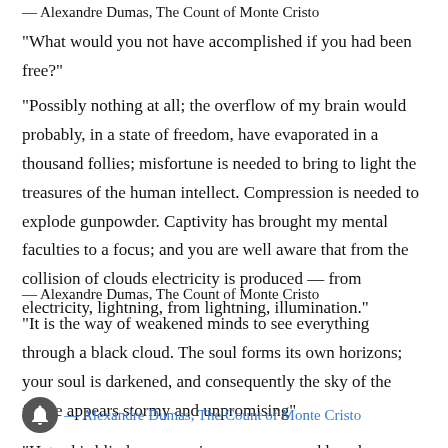— Alexandre Dumas, The Count of Monte Cristo
“What would you not have accomplished if you had been free?”
“Possibly nothing at all; the overflow of my brain would probably, in a state of freedom, have evaporated in a thousand follies; misfortune is needed to bring to light the treasures of the human intellect. Compression is needed to explode gunpowder. Captivity has brought my mental faculties to a focus; and you are well aware that from the collision of clouds electricity is produced — from electricity, lightning, from lightning, illumination.”
— Alexandre Dumas, The Count of Monte Cristo
“It is the way of weakened minds to see everything through a black cloud. The soul forms its own horizons; your soul is darkened, and consequently the sky of the future appears stormy and unpromising”
— Alexandre Dumas, The Count of Monte Cristo
“Hatred is blind; rage carries you away; and he who pours out